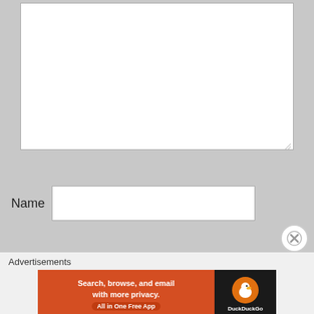[Figure (screenshot): A large white textarea input box with a resize handle at the bottom-right corner, on a gray background]
Name
[Figure (screenshot): A white text input field labeled 'Name' on a gray background]
[Figure (screenshot): A circular close/dismiss button with an X symbol]
Advertisements
[Figure (screenshot): DuckDuckGo advertisement banner: orange left side reading 'Search, browse, and email with more privacy. All in One Free App' and dark right side with DuckDuckGo duck logo and brand name]
REPORT THIS AD